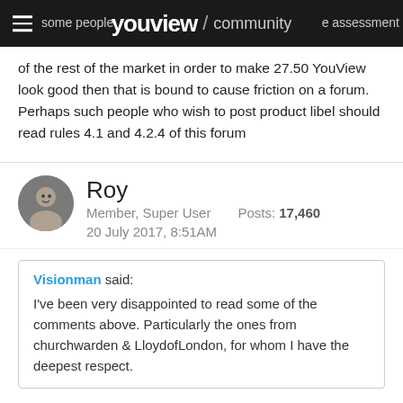YouView / community
some people … assessment of the rest of the market in order to make 27.50 YouView look good then that is bound to cause friction on a forum. Perhaps such people who wish to post product libel should read rules 4.1 and 4.2.4 of this forum
Roy
Member, Super User   Posts: 17,460
20 July 2017, 8:51AM
Visionman said:
I've been very disappointed to read some of the comments above. Particularly the ones from churchwarden & LloydofLondon, for whom I have the deepest respect.
With the possible exception of YouView's Stephen, there isn't a manjack (or womanjill) on here who can fix YouView.